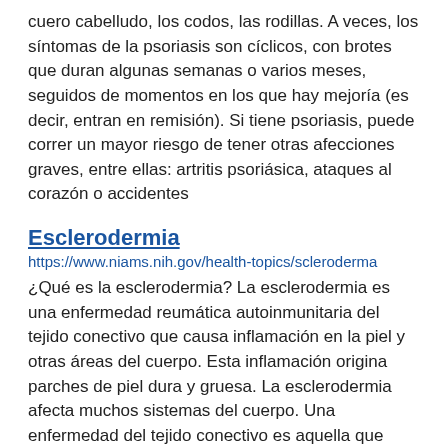cuero cabelludo, los codos, las rodillas. A veces, los síntomas de la psoriasis son cíclicos, con brotes que duran algunas semanas o varios meses, seguidos de momentos en los que hay mejoría (es decir, entran en remisión). Si tiene psoriasis, puede correr un mayor riesgo de tener otras afecciones graves, entre ellas: artritis psoriásica, ataques al corazón o accidentes
Esclerodermia
https://www.niams.nih.gov/health-topics/scleroderma
¿Qué es la esclerodermia? La esclerodermia es una enfermedad reumática autoinmunitaria del tejido conectivo que causa inflamación en la piel y otras áreas del cuerpo. Esta inflamación origina parches de piel dura y gruesa. La esclerodermia afecta muchos sistemas del cuerpo. Una enfermedad del tejido conectivo es aquella que afecta tejidos como la piel, los tendones y los cartílagos. Hay dos tipos de esclerodermia: esclerodermia localizada, que solo afecta la piel y las estructuras directamente debajo de la piel; esclerodermia sistémica, también llamada esclerosis sistémica, que afecta muchos de los sistemas del cuerpo. Este es el tipo más grave de
(Atopic Dermatitis)
https://www.niams.nih.gov/health-topics/atopic-dermatitis